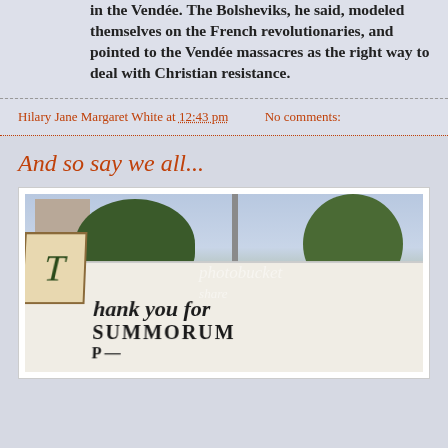in the Vendée. The Bolsheviks, he said, modeled themselves on the French revolutionaries, and pointed to the Vendée massacres as the right way to deal with Christian resistance.
Hilary Jane Margaret White at 12:43 pm    No comments:
And so say we all...
[Figure (photo): Photo of a large white banner being held up outdoors in front of trees and a building. The banner has an ornate illuminated capital T and reads 'Thank you for SUMMORUM' in calligraphic lettering. A photobucket watermark is visible.]